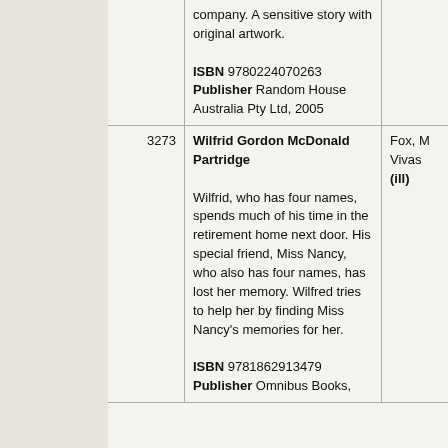|  | Description/ISBN/Publisher | Author |
| --- | --- | --- |
|  | company. A sensitive story with original artwork.
ISBN 9780224070263
Publisher Random House Australia Pty Ltd, 2005 |  |
| 3273 | Wilfrid Gordon McDonald Partridge

Wilfrid, who has four names, spends much of his time in the retirement home next door. His special friend, Miss Nancy, who also has four names, has lost her memory. Wilfred tries to help her by finding Miss Nancy's memories for her.

ISBN 9781862913479
Publisher Omnibus Books, 1997... | Fox, M Vivas (ill) |